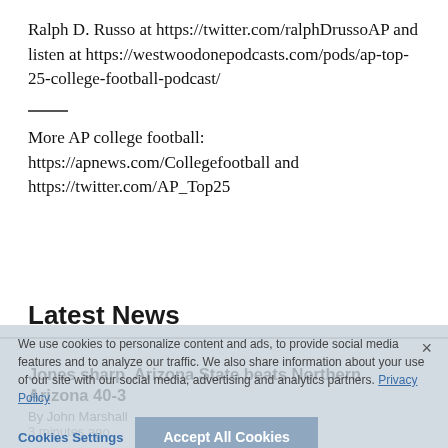Ralph D. Russo at https://twitter.com/ralphDrussoAP and listen at https://westwoodonepodcasts.com/pods/ap-top-25-college-football-podcast/
More AP college football: https://apnews.com/Collegefootball and https://twitter.com/AP_Top25
Latest News
We use cookies to personalize content and ads, to provide social media features and to analyze our traffic. We also share information about your use of our site with our social media, advertising and analytics partners. Privacy Policy
Jones sharp, Arizona State beats Northern Arizona 40-3
By John Marshall
3 minutes ago
Cookies Settings   Accept All Cookies
Clifford's masterful final drive sends Penn St. past